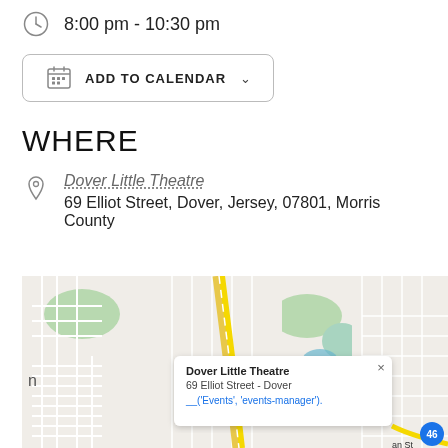8:00 pm - 10:30 pm
ADD TO CALENDAR
WHERE
Dover Little Theatre
69 Elliot Street, Dover, Jersey, 07801, Morris County
[Figure (map): Google Maps screenshot showing Dover Little Theatre location with a popup showing '69 Elliot Street - Dover' and a code snippet reference, road markers 661 and 46 visible.]